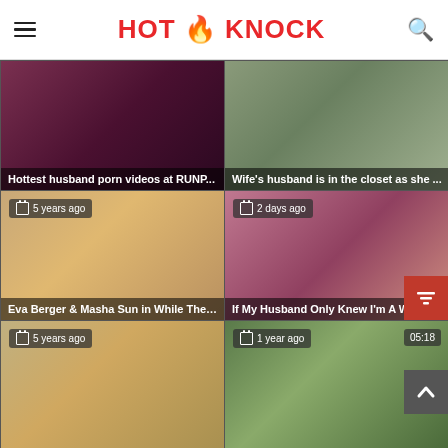HOT KNOCK
[Figure (screenshot): Video thumbnail grid showing adult video website with 6 video thumbnails in a 2-column grid layout]
Hottest husband porn videos at RUNP...
Wife's husband is in the closet as she ...
Eva Berger & Masha Sun in While The ...
If My Husband Only Knew I'm A W...